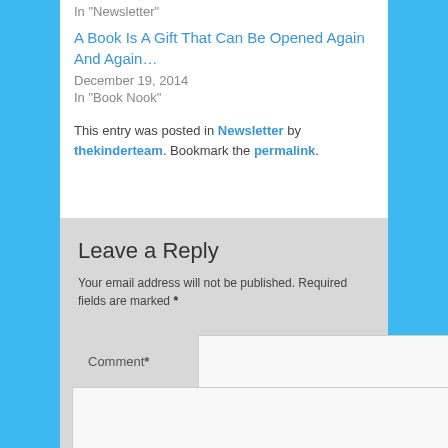In "Newsletter"
A Book Is A Gift That Can Be Opened Again And Again…
December 19, 2014
In "Book Nook"
This entry was posted in Newsletter by thekinderteam. Bookmark the permalink.
Leave a Reply
Your email address will not be published. Required fields are marked *
Comment *